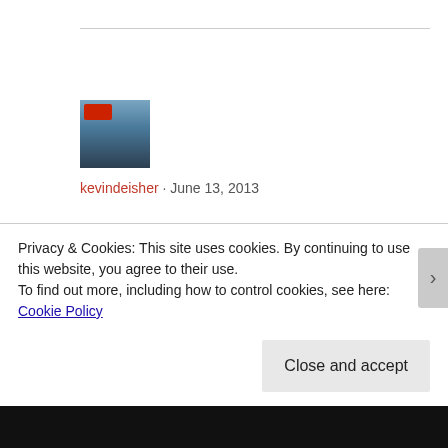[Figure (photo): Avatar photo of a man at a protest holding a red sign]
kevindeisher · June 13, 2013
Thanks for sharing this. I have bipolar and have been suicidal, attempting three times in the past and really struggling with suicidal ideations now. Bipolar is a horrible illness I wouldn't wish on anyone. I admire anyone who
Privacy & Cookies: This site uses cookies. By continuing to use this website, you agree to their use.
To find out more, including how to control cookies, see here: Cookie Policy
Close and accept